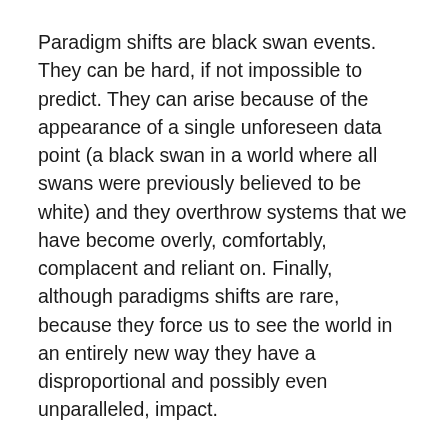Paradigm shifts are black swan events. They can be hard, if not impossible to predict. They can arise because of the appearance of a single unforeseen data point (a black swan in a world where all swans were previously believed to be white) and they overthrow systems that we have become overly, comfortably, complacent and reliant on. Finally, although paradigms shifts are rare, because they force us to see the world in an entirely new way they have a disproportional and possibly even unparalleled, impact.
I often like to refer to Schopenhauer's three stages of truth: “All truth passes through three stages. First, it is ridiculed. Second, it is violently opposed. Third, it is accepted as being self-evident.”
Both Taleb and Kuhn’s books play on this theme. For Taleb...